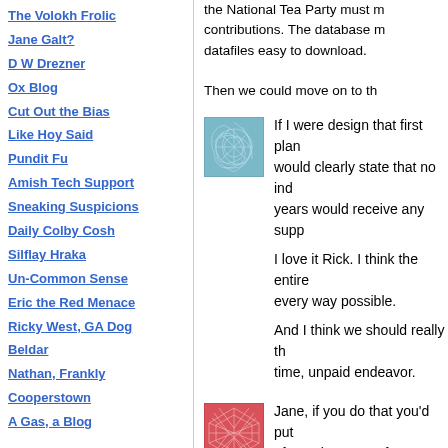The Volokh Frolic
Jane Galt?
D W Drezner
Ox Blog
Cut Out the Bias
Like Hoy Said
Pundit Fu
Amish Tech Support
Sneaking Suspicions
Daily Colby Cosh
Silflay Hraka
Un-Common Sense
Eric the Red Menace
Ricky West, GA Dog
Beldar
Nathan, Frankly
Cooperstown
A Gas, a Blog
the National Tea Party must m contributions. The database m datafiles easy to download. Then we could move on to th
[Figure (illustration): Blue abstract network/web pattern image, square, with light blue lines on a slightly darker blue background]
If I were design that first plan would clearly state that no ind years would receive any supp

I love it Rick. I think the entire every way possible.

And I think we should really th time, unpaid endeavor.
[Figure (illustration): Red/pink abstract geometric shattered glass or crinkled foil pattern image, square]
Jane, if you do that you'd put often takes years for Congres

I think not only committee sta staff and budgets--way overd